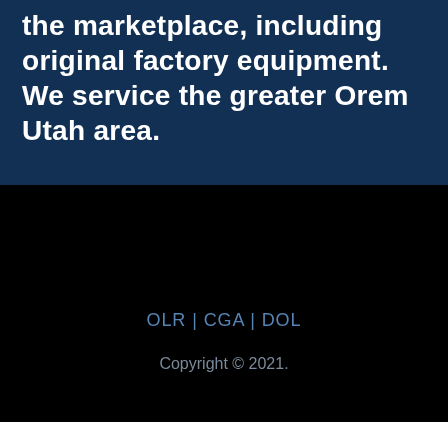the marketplace, including original factory equipment. We service the greater Orem Utah area.
OLR | CGA | DOL
Copyright © 2021.